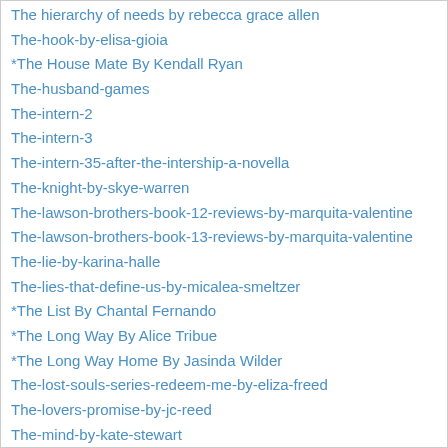The hierarchy of needs by rebecca grace allen
The-hook-by-elisa-gioia
*The House Mate By Kendall Ryan
The-husband-games
The-intern-2
The-intern-3
The-intern-35-after-the-intership-a-novella
The-knight-by-skye-warren
The-lawson-brothers-book-12-reviews-by-marquita-valentine
The-lawson-brothers-book-13-reviews-by-marquita-valentine
The-lie-by-karina-halle
The-lies-that-define-us-by-micalea-smeltzer
*The List By Chantal Fernando
*The Long Way By Alice Tribue
*The Long Way Home By Jasinda Wilder
The-lost-souls-series-redeem-me-by-eliza-freed
The-lovers-promise-by-jc-reed
The-mind-by-kate-stewart
The-music-of-temptation-by-verity-jacobs
*The Naked Truth By Vi Keeland
The-next-sin-by-georgia-cates
Then-he-kissed-me-by-laura-trentham